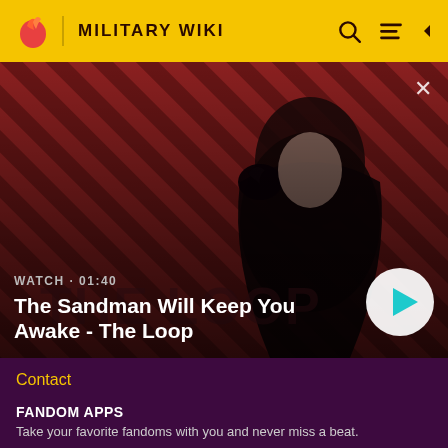MILITARY WIKI
[Figure (screenshot): Video thumbnail showing a dark-robed figure with a raven on shoulder against a red diagonal stripe background. Title overlay reads 'The Sandman Will Keep You Awake - The Loop'. Watch duration shown as 01:40. Play button visible on right.]
WATCH · 01:40
The Sandman Will Keep You Awake - The Loop
Contact
FANDOM APPS
Take your favorite fandoms with you and never miss a beat.
[Figure (logo): Google Play app store button]
[Figure (logo): Apple App Store download button]